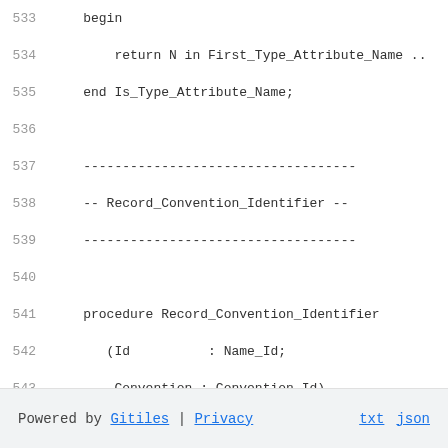533     begin
534         return N in First_Type_Attribute_Name ..
535     end Is_Type_Attribute_Name;
536
537     -----------------------------------
538     -- Record_Convention_Identifier --
539     -----------------------------------
540
541     procedure Record_Convention_Identifier
542        (Id           : Name_Id;
543         Convention : Convention_Id)
544     is
545     begin
546         Convention_Identifiers.Append ((Id, Conve
547     end Record_Convention_Identifier;
548
549 end Snames;
Powered by Gitiles | Privacy    txt  json